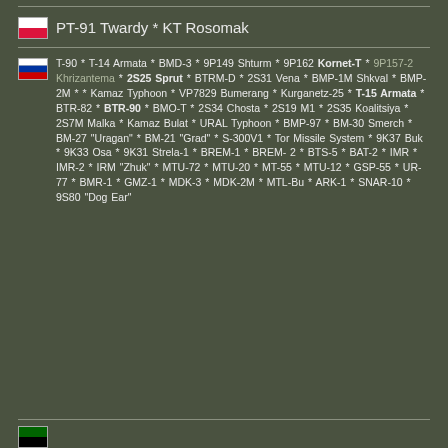PT-91 Twardy * KT Rosomak
T-90 * T-14 Armata * BMD-3 * 9P149 Shturm * 9P162 Kornet-T * 9P157-2 Khrizantema * 2S25 Sprut * BTRM-D * 2S31 Vena * BMP-1M Shkval * BMP-2M * * Kamaz Typhoon * VP7829 Bumerang * Kurganetz-25 * T-15 Armata * BTR-82 * BTR-90 * BMO-T * 2S34 Chosta * 2S19 M1 * 2S35 Koalitsiya * 2S7M Malka * Kamaz Bulat * URAL Typhoon * BMP-97 * BM-30 Smerch * BM-27 "Uragan" * BM-21 "Grad" * S-300V1 * Tor Missile System * 9K37 Buk * 9K33 Osa * 9K31 Strela-1 * BREM-1 * BREM-2 * BTS-5 * BAT-2 * IMR * IMR-2 * IRM "Zhuk" * MTU-72 * MTU-20 * MT-55 * MTU-12 * GSP-55 * UR-77 * BMR-1 * GMZ-1 * MDK-3 * MDK-2M * MTL-Bu * ARK-1 * SNAR-10 * 9S80 "Dog Ear"